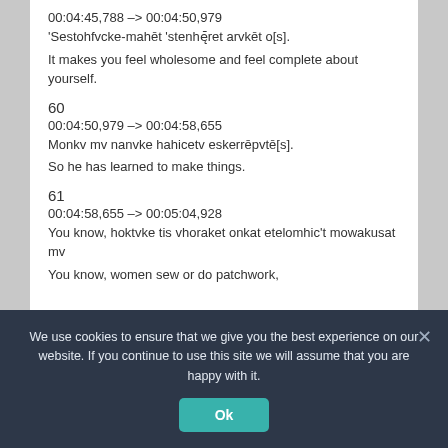00:04:45,788 –> 00:04:50,979
'Sestohfvcke-mahēt 'stenhēret arvkēt o[s].
It makes you feel wholesome and feel complete about yourself.
60
00:04:50,979 –> 00:04:58,655
Monkv mv nanvke hahicetv eskerrēpvtē[s].
So he has learned to make things.
61
00:04:58,655 –> 00:05:04,928
You know, hoktvke tis vhoraket onkat etelomhic't mowakusat mv
You know, women sew or do patchwork,
We use cookies to ensure that we give you the best experience on our website. If you continue to use this site we will assume that you are happy with it.